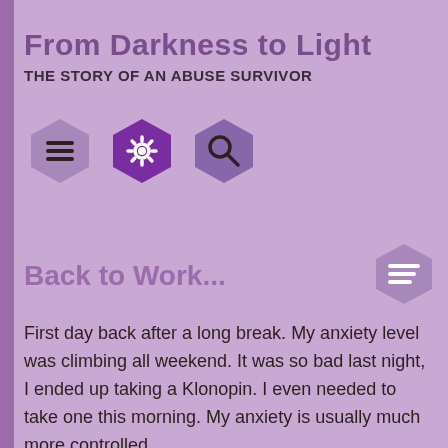From Darkness to Light
THE STORY OF AN ABUSE SURVIVOR
[Figure (illustration): Three hexagonal icons in a row: a menu/hamburger icon (grey-purple), a settings/gear icon (dark purple), and a search/magnifier icon (medium purple)]
Back to Work...
First day back after a long break. My anxiety level was climbing all weekend. It was so bad last night, I ended up taking a Klonopin. I even needed to take one this morning. My anxiety is usually much more controlled.